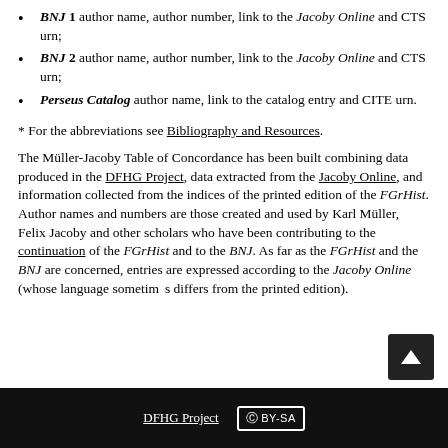BNJ 1 author name, author number, link to the Jacoby Online and CTS urn;
BNJ 2 author name, author number, link to the Jacoby Online and CTS urn;
Perseus Catalog author name, link to the catalog entry and CITE urn.
* For the abbreviations see Bibliography and Resources.
The Müller-Jacoby Table of Concordance has been built combining data produced in the DFHG Project, data extracted from the Jacoby Online, and information collected from the indices of the printed edition of the FGrHist. Author names and numbers are those created and used by Karl Müller, Felix Jacoby and other scholars who have been contributing to the continuation of the FGrHist and to the BNJ. As far as the FGrHist and the BNJ are concerned, entries are expressed according to the Jacoby Online (whose language sometimes differs from the printed edition).
DFHG Project  CC BY-SA